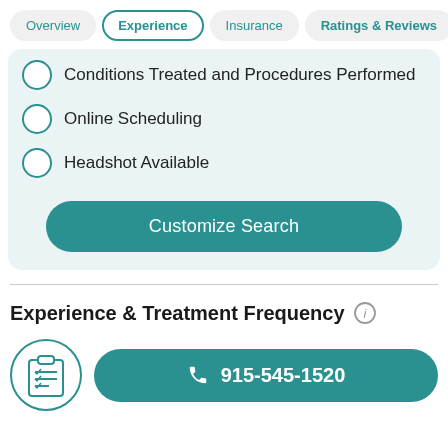Overview | Experience | Insurance | Ratings & Reviews
Conditions Treated and Procedures Performed
Online Scheduling
Headshot Available
Customize Search
Experience & Treatment Frequency
915-545-1520